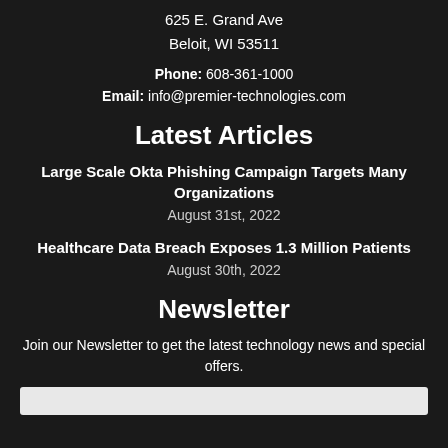625 E. Grand Ave
Beloit, WI 53511
Phone: 608-361-1000
Email: info@premier-technologies.com
Latest Articles
Large Scale Okta Phishing Campaign Targets Many Organizations
August 31st, 2022
Healthcare Data Breach Exposes 1.3 Million Patients
August 30th, 2022
Newsletter
Join our Newsletter to get the latest technology news and special offers.